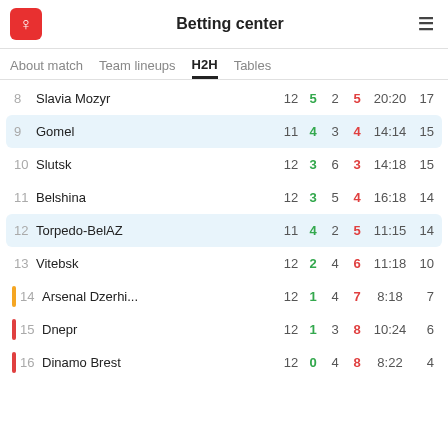Betting center
| # | Team | GP | W | D | L | Score | Pts |
| --- | --- | --- | --- | --- | --- | --- | --- |
| 8 | Slavia Mozyr | 12 | 5 | 2 | 5 | 20:20 | 17 |
| 9 | Gomel | 11 | 4 | 3 | 4 | 14:14 | 15 |
| 10 | Slutsk | 12 | 3 | 6 | 3 | 14:18 | 15 |
| 11 | Belshina | 12 | 3 | 5 | 4 | 16:18 | 14 |
| 12 | Torpedo-BelAZ | 11 | 4 | 2 | 5 | 11:15 | 14 |
| 13 | Vitebsk | 12 | 2 | 4 | 6 | 11:18 | 10 |
| 14 | Arsenal Dzerhi... | 12 | 1 | 4 | 7 | 8:18 | 7 |
| 15 | Dnepr | 12 | 1 | 3 | 8 | 10:24 | 6 |
| 16 | Dinamo Brest | 12 | 0 | 4 | 8 | 8:22 | 4 |